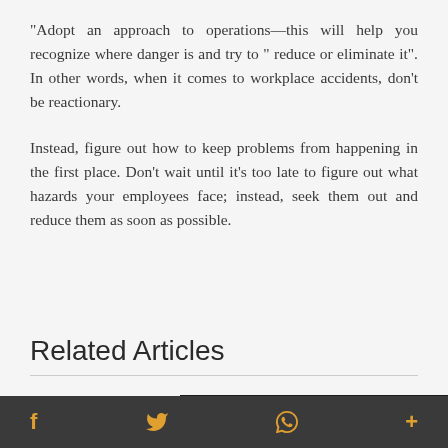“Adopt an approach to operations—this will help you recognize where danger is and try to ” reduce or eliminate it”. In other words, when it comes to workplace accidents, don’t be reactionary.
Instead, figure out how to keep problems from happening in the first place. Don’t wait until it’s too late to figure out what hazards your employees face; instead, seek them out and reduce them as soon as possible.
Related Articles
[Figure (photo): A dark image with text overlay reading THE INS AND OUTS OF BEVERLY HILLS REAL ESTATE]